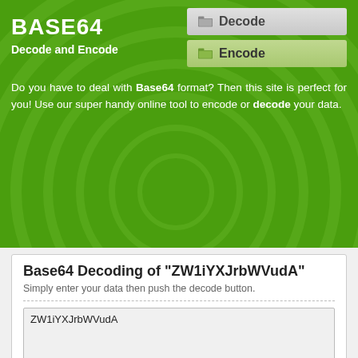BASE64
Decode and Encode
[Figure (screenshot): Decode navigation button with folder icon]
[Figure (screenshot): Encode navigation button with folder icon]
Do you have to deal with Base64 format? Then this site is perfect for you! Use our super handy online tool to encode or decode your data.
Base64 Decoding of "ZW1iYXJrbWVudA"
Simply enter your data then push the decode button.
ZW1iYXJrbWVudA